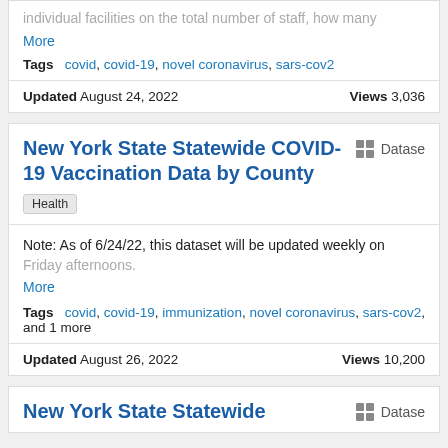individual facilities on the total number of staff, how many
More
Tags  covid, covid-19, novel coronavirus, sars-cov2
Updated August 24, 2022   Views 3,036
New York State Statewide COVID-19 Vaccination Data by County
Health
Note: As of 6/24/22, this dataset will be updated weekly on Friday afternoons.
More
Tags  covid, covid-19, immunization, novel coronavirus, sars-cov2, and 1 more
Updated August 26, 2022   Views 10,200
New York State Statewide